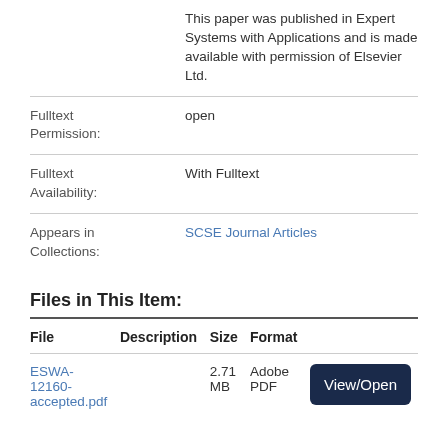This paper was published in Expert Systems with Applications and is made available with permission of Elsevier Ltd.
Fulltext Permission: open
Fulltext Availability: With Fulltext
Appears in Collections: SCSE Journal Articles
Files in This Item:
| File | Description | Size | Format |  |
| --- | --- | --- | --- | --- |
| ESWA-12160-accepted.pdf |  | 2.71 MB | Adobe PDF | View/Open |